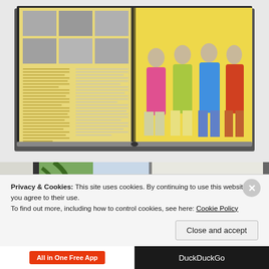[Figure (photo): Open book showing two pages: left page has black-and-white photos of The Beatles in grid layout with yellow-tinted text columns below; right page shows The Beatles in colorful Sgt. Pepper band costumes (pink, yellow-green, blue, orange-red) against yellow background]
[Figure (photo): Partial view of another open book showing people outdoors near palm trees, partially obscured by cookie consent banner]
Privacy & Cookies: This site uses cookies. By continuing to use this website, you agree to their use.
To find out more, including how to control cookies, see here: Cookie Policy
[Figure (other): Bottom browser bar with 'All in One Free App' button on white background left side and 'DuckDuckGo' text on dark background right side]